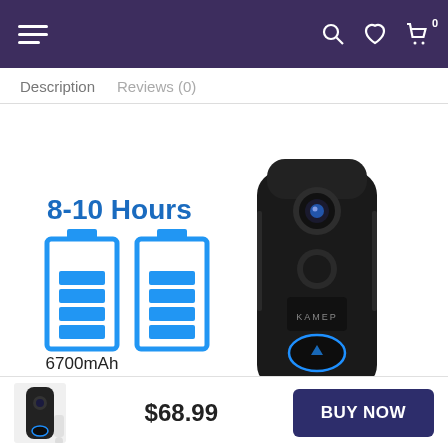Navigation bar with hamburger menu, search, wishlist, and cart icons
Description   Reviews (0)
[Figure (photo): Product image of KAMEP video doorbell with 8-10 Hours battery life label, two battery icons showing 6700mAh capacity, and the black doorbell device with camera lens and blue ring button]
$68.99
BUY NOW